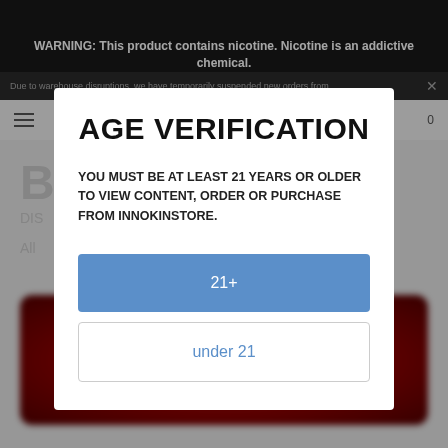WARNING: This product contains nicotine. Nicotine is an addictive chemical.
Due to warehouse disruptions, we have temporarily suspended new orders from...
AGE VERIFICATION
YOU MUST BE AT LEAST 21 YEARS OR OLDER TO VIEW CONTENT, ORDER OR PURCHASE FROM INNOKINSTORE.
21+
under 21